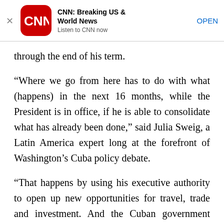[Figure (screenshot): CNN Breaking US & World News app advertisement banner with CNN logo, title, subtitle, and OPEN button]
through the end of his term.
“Where we go from here has to do with what (happens) in the next 16 months, while the President is in office, if he is able to consolidate what has already been done,” said Julia Sweig, a Latin America expert long at the forefront of Washington’s Cuba policy debate.
“That happens by using his executive authority to open up new opportunities for travel, trade and investment. And the Cuban government needs to do the same,” she said. “This could neutralize remaining opposition in Congress and make it impossible for the next president, if it is a Republican, to reverse